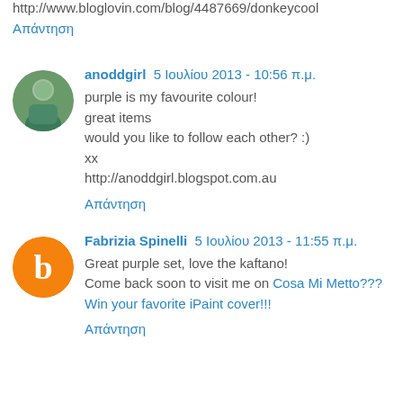http://www.bloglovin.com/blog/4487669/donkeycool
Απάντηση
anoddgirl  5 Ιουλίου 2013 - 10:56 π.μ.
purple is my favourite colour!
great items
would you like to follow each other? :)
xx
http://anoddgirl.blogspot.com.au
Απάντηση
Fabrizia Spinelli  5 Ιουλίου 2013 - 11:55 π.μ.
Great purple set, love the kaftano!
Come back soon to visit me on Cosa Mi Metto???
Win your favorite iPaint cover!!!
Απάντηση